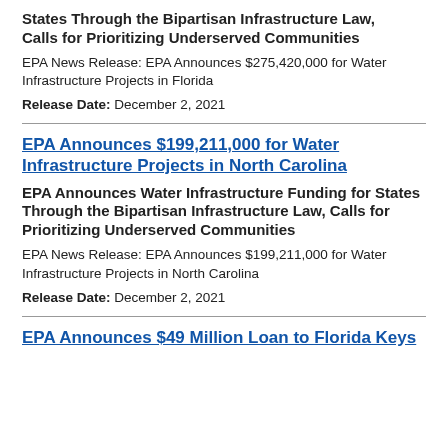States Through the Bipartisan Infrastructure Law, Calls for Prioritizing Underserved Communities
EPA News Release: EPA Announces $275,420,000 for Water Infrastructure Projects in Florida
Release Date: December 2, 2021
EPA Announces $199,211,000 for Water Infrastructure Projects in North Carolina
EPA Announces Water Infrastructure Funding for States Through the Bipartisan Infrastructure Law, Calls for Prioritizing Underserved Communities
EPA News Release: EPA Announces $199,211,000 for Water Infrastructure Projects in North Carolina
Release Date: December 2, 2021
EPA Announces $49 Million Loan to Florida Keys